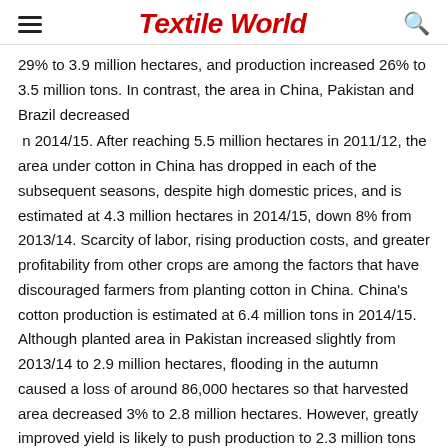Textile World
29% to 3.9 million hectares, and production increased 26% to 3.5 million tons. In contrast, the area in China, Pakistan and Brazil decreased
 n 2014/15. After reaching 5.5 million hectares in 2011/12, the area under cotton in China has dropped in each of the subsequent seasons, despite high domestic prices, and is estimated at 4.3 million hectares in 2014/15, down 8% from 2013/14. Scarcity of labor, rising production costs, and greater profitability from other crops are among the factors that have discouraged farmers from planting cotton in China. China's cotton production is estimated at 6.4 million tons in 2014/15. Although planted area in Pakistan increased slightly from 2013/14 to 2.9 million hectares, flooding in the autumn caused a loss of around 86,000 hectares so that harvested area decreased 3% to 2.8 million hectares. However, greatly improved yield is likely to push production to 2.3 million tons